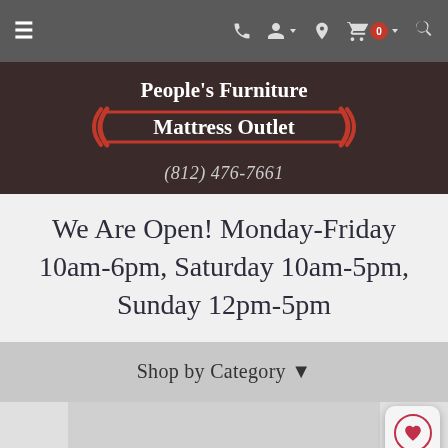Navigation bar with hamburger menu, phone icon, account icon, location icon, cart (0), and search icon
[Figure (logo): People's Furniture Mattress Outlet logo on dark brown background with red decorative arrows]
(812) 476-7661
We Are Open! Monday-Friday 10am-6pm, Saturday 10am-5pm, Sunday 12pm-5pm
Shop by Category ▾
[Figure (photo): Partial product image at bottom of page]